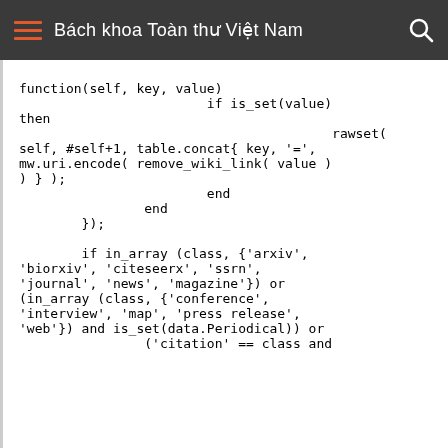Bách khoa Toàn thư Việt Nam
function(self, key, value)
                        if is_set(value) then
                                        rawset(
self, #self+1, table.concat{ key, '=',
mw.uri.encode( remove_wiki_link( value )
) } );
                        end
                end
        });

        if in_array (class, {'arxiv',
'biorxiv', 'citeseerx', 'ssrn',
'journal', 'news', 'magazine'}) or
(in_array (class, {'conference',
'interview', 'map', 'press release',
'web'}) and is_set(data.Periodical)) or
                ('citation' == class and